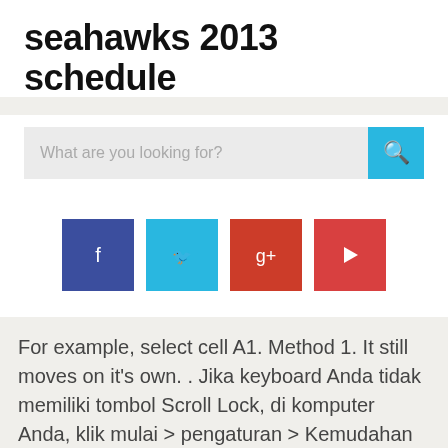seahawks 2013 schedule
[Figure (screenshot): Search bar with placeholder text 'What are you looking for?' and a cyan search button with magnifying glass icon]
[Figure (infographic): Four social media icon buttons: Facebook (dark blue), Twitter (cyan), Google+ (red-orange), YouTube (red)]
For example, select cell A1. Method 1. It still moves on it's own. . Jika keyboard Anda tidak memiliki tombol Scroll Lock, di komputer Anda, klik mulai > pengaturan > Kemudahan akses > Keyboard. First, when Scroll Lock is turned off, you can use the arrow keys to change the active cell. Do you have a key, usually on the right hand side of your keyboard or very top of your keyboard with ScrLK or just Scroll printed on it? HP laptops are equipped with touchpad drivers from Synaptics which allow you to activate, disable, and